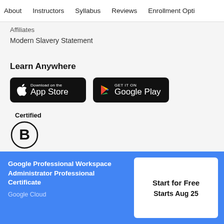About   Instructors   Syllabus   Reviews   Enrollment Opti
Affiliates
Modern Slavery Statement
Learn Anywhere
[Figure (logo): Download on the App Store button (black rounded rectangle with Apple logo)]
[Figure (logo): GET IT ON Google Play button (black rounded rectangle with Google Play logo)]
[Figure (logo): Certified B Corporation logo — circle with letter B]
Certified
Google Professional Workspace Administrator Professional Certificate
Google Cloud
Start for Free
Starts Aug 25